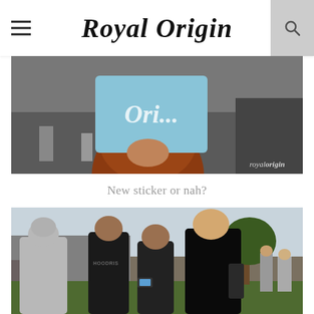Royal Origin
[Figure (photo): Person with red/auburn hair holding up a light blue Royal Origin sticker/sign in front of their face. Watermark 'royalorigin' in bottom right corner.]
New sticker or nah?
[Figure (photo): Group of young people outdoors looking at a phone. One person in a gray hoodie, others in dark clothing. Trees and buildings visible in the background.]